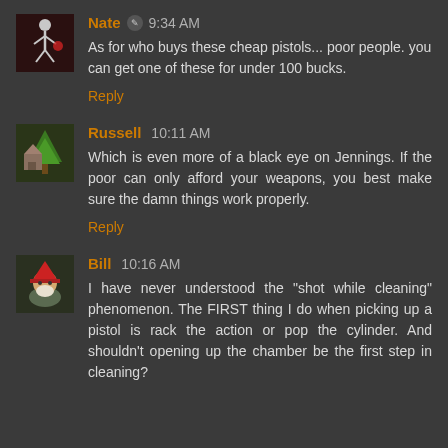Nate 9:34 AM
As for who buys these cheap pistols... poor people. you can get one of these for under 100 bucks.
Reply
Russell 10:11 AM
Which is even more of a black eye on Jennings. If the poor can only afford your weapons, you best make sure the damn things work properly.
Reply
Bill 10:16 AM
I have never understood the "shot while cleaning" phenomenon. The FIRST thing I do when picking up a pistol is rack the action or pop the cylinder. And shouldn't opening up the chamber be the first step in cleaning?